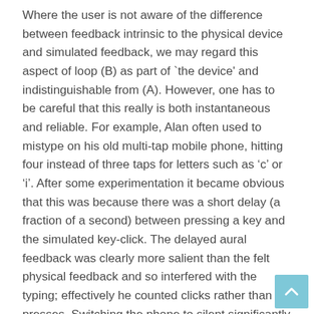Where the user is not aware of the difference between feedback intrinsic to the physical device and simulated feedback, we may regard this aspect of loop (B) as part of `the device' and indistinguishable from (A). However, one has to be careful that this really is both instantaneous and reliable. For example, Alan often used to mistype on his old multi-tap mobile phone, hitting four instead of three taps for letters such as 'c' or 'i'. After some experimentation it became obvious that this was because there was a short delay (a fraction of a second) between pressing a key and the simulated key-click. The delayed aural feedback was clearly more salient than the felt physical feedback and so interfered with the typing; effectively he counted clicks rather than presses. Switching the phone to silent significantly reduced typing errors. These interactions between visual and aural feedback can be quite complex; we will return to this in Chapter 20 when we discuss the McGurk Effect.